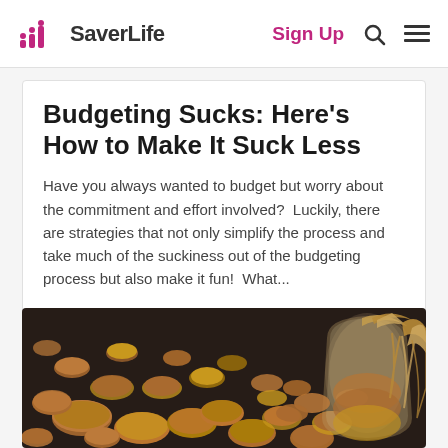SaverLife | Sign Up
Budgeting Sucks: Here's How to Make It Suck Less
Have you always wanted to budget but worry about the commitment and effort involved?  Luckily, there are strategies that not only simplify the process and take much of the suckiness out of the budgeting process but also make it fun!  What…
[Figure (photo): A glass jar tipped on its side with coins spilling out, tied with a raffia bow, surrounded by scattered pennies and mixed coins on a dark surface.]